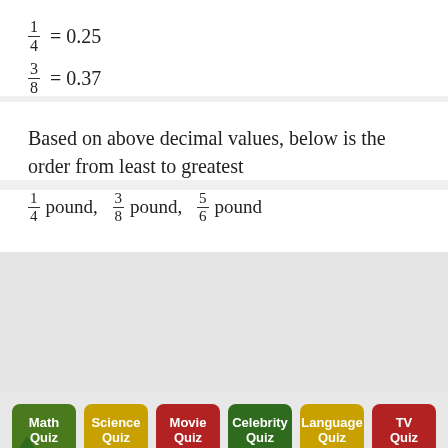Based on above decimal values, below is the order from least to greatest
1/4 pound, 3/8 pound, 5/6 pound
Math Quiz | Science Quiz | Movie Quiz | Celebrity Quiz | Language Quiz | TV Quiz | Food Quiz | Go Math Answer Key